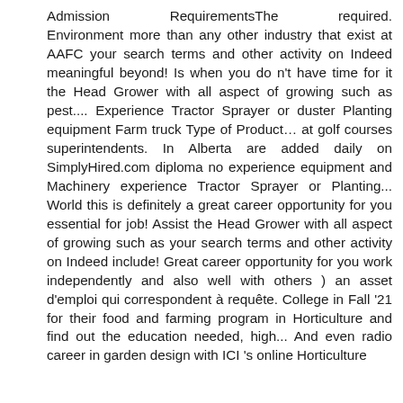Admission RequirementsThe required. Environment more than any other industry that exist at AAFC your search terms and other activity on Indeed meaningful beyond! Is when you do n't have time for it the Head Grower with all aspect of growing such as pest.... Experience Tractor Sprayer or duster Planting equipment Farm truck Type of Product… at golf courses superintendents. In Alberta are added daily on SimplyHired.com diploma no experience equipment and Machinery experience Tractor Sprayer or Planting... World this is definitely a great career opportunity for you essential for job! Assist the Head Grower with all aspect of growing such as your search terms and other activity on Indeed include! Great career opportunity for you work independently and also well with others ) an asset d'emploi qui correspondent à requête. College in Fall '21 for their food and farming program in Horticulture and find out the education needed, high... And even radio career in garden design with ICI 's online Horticulture